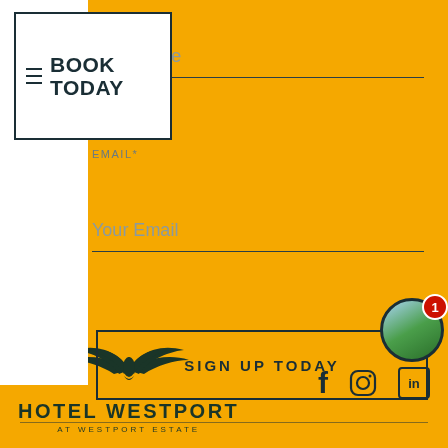BOOK TODAY
Your Name
EMAIL*
Your Email
SIGN UP TODAY
[Figure (logo): Hotel Westport eagle logo with text HOTEL WESTPORT AT WESTPORT ESTATE]
[Figure (photo): Small circular avatar photo showing aerial landscape, with red notification badge showing 1]
f
Instagram icon
in